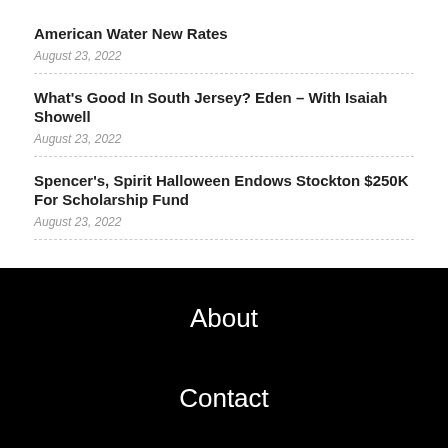American Water New Rates
August 23, 2022
What's Good In South Jersey? Eden – With Isaiah Showell
August 23, 2022
Spencer's, Spirit Halloween Endows Stockton $250K For Scholarship Fund
August 23, 2022
About
Contact